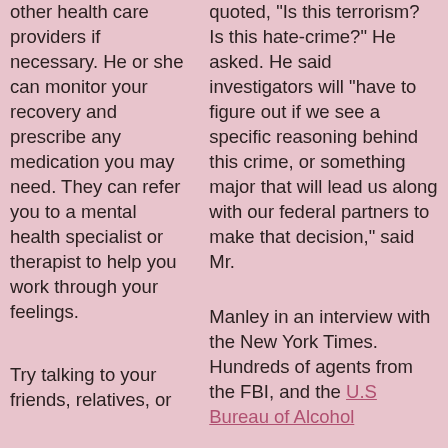other health care providers if necessary. He or she can monitor your recovery and prescribe any medication you may need. They can refer you to a mental health specialist or therapist to help you work through your feelings.
Try talking to your friends, relatives, or
quoted, "Is this terrorism? Is this hate-crime?" He asked. He said investigators will "have to figure out if we see a specific reasoning behind this crime, or something major that will lead us along with our federal partners to make that decision," said Mr.
Manley in an interview with the New York Times. Hundreds of agents from the FBI, and the U.S Bureau of Alcohol